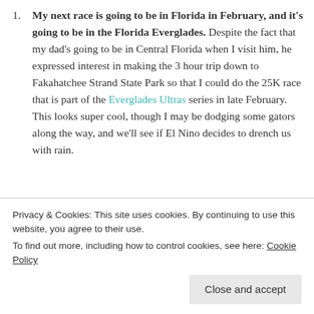My next race is going to be in Florida in February, and it's going to be in the Florida Everglades. Despite the fact that my dad's going to be in Central Florida when I visit him, he expressed interest in making the 3 hour trip down to Fakahatchee Strand State Park so that I could do the 25K race that is part of the Everglades Ultras series in late February. This looks super cool, though I may be dodging some gators along the way, and we'll see if El Nino decides to drench us with rain.
I need a March race, and it's not gonna be in
Privacy & Cookies: This site uses cookies. By continuing to use this website, you agree to their use.
To find out more, including how to control cookies, see here: Cookie Policy